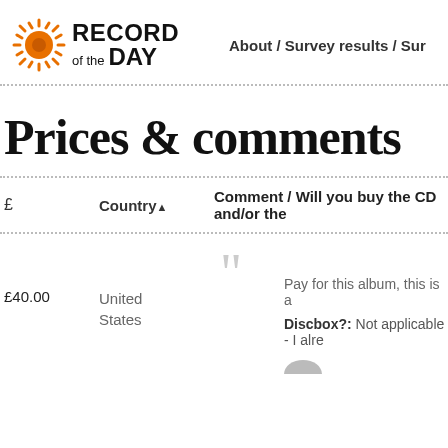[Figure (logo): Record of the Day logo with orange sun icon and bold text]
About / Survey results / Sur...
Prices & comments
| £ | Country▲ | Comment / Will you buy the CD and/or the... |
| --- | --- | --- |
| £40.00 | United States | Pay for this album, this is a... Discbox?: Not applicable - I alre... |